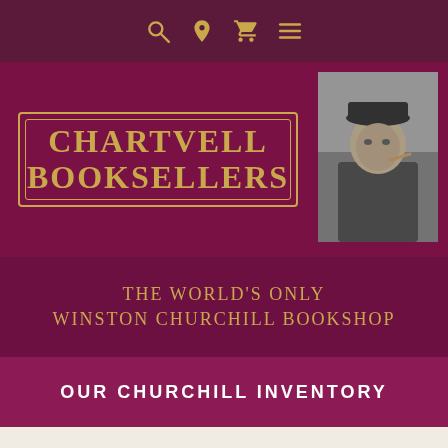[Figure (screenshot): Navigation bar with search, location pin, shopping cart, and hamburger menu icons in gold on dark purple background]
[Figure (logo): Chartwell Booksellers logo in gold text with decorative border on dark maroon background, with a black and white photo of Winston Churchill smoking a cigar to the right]
THE WORLD'S ONLY WINSTON CHURCHILL BOOKSHOP
OUR CHURCHILL INVENTORY
SIGNED